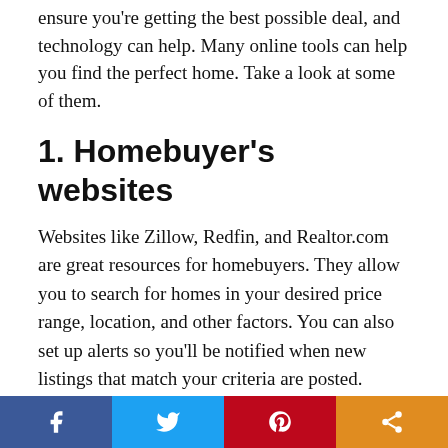ensure you're getting the best possible deal, and technology can help. Many online tools can help you find the perfect home. Take a look at some of them.
1. Homebuyer's websites
Websites like Zillow, Redfin, and Realtor.com are great resources for homebuyers. They allow you to search for homes in your desired price range, location, and other factors. You can also set up alerts so you'll be notified when new listings that match your criteria are posted.
These websites also have tools to help you estimate your monthly mortgage payment, find out how much you can afford to spend on a home, and more. Some even have mobile apps that you can use while looking at houses.
Social share bar: Facebook, Twitter, Pinterest, Share